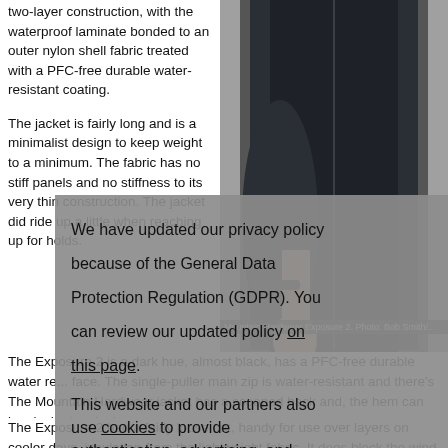two-layer construction, with the waterproof laminate bonded to an outer nylon shell fabric treated with a PFC-free durable water-resistant coating.
The jacket is fairly long and is a minimalist design to keep weight to a minimum. The fabric has no stiff panels and no stiffness to its very thin construction. The jacket did ride up a little when reaching up for holds.
[Figure (photo): Photo of person wearing dark navy Mountain Hardwear Exposure 2 jacket, showing torso and arm reaching down]
Mountain Hardwear Exposure 2. Photo: Bob Smith/...
The Exposure 2 is a dark hue, almost black, has a PFC-free durable water resistant face. The single-puller main zip is water-resistant and there's a tricot-backed chin guard.
The Mountain Hardwear jacket has a scooped back and, the hem can be cinched in with a single adjustment at the rear.
The Exposure 2 had a fairly loose cut, handy for use over layers on cooler days, don't expect insulation from the lightweight fabric. It does block the wind well, however, and br...
We have updated our privacy policy because of the General Data Protection Regulation (GDPR). You can review our updated policy on this page.

This website and our partners also use cookies to provide authentication, advertising, and analysis of our traffic.

You can set your browser to disable these at any time.
I understand